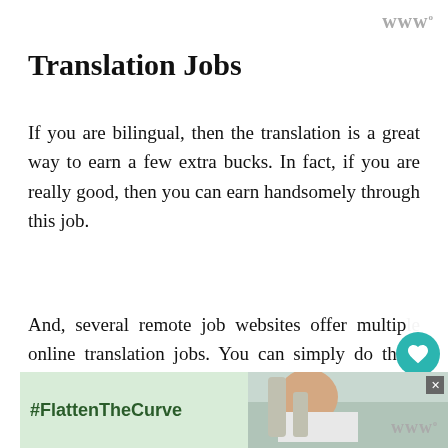www
Translation Jobs
If you are bilingual, then the translation is a great way to earn a few extra bucks. In fact, if you are really good, then you can earn handsomely through this job.
And, several remote job websites offer multiple online translation jobs. You can simply do them from the comfort of your home. Listed below are a few of them:
[Figure (screenshot): Heart/favorite button (teal circle with heart icon) and share button overlaid on page content]
[Figure (screenshot): WHAT'S NEXT box showing '81 Work From Home Jobs...' with thumbnail photo]
[Figure (screenshot): Advertisement banner with #FlattenTheCurve hashtag and handwashing image with close button]
www